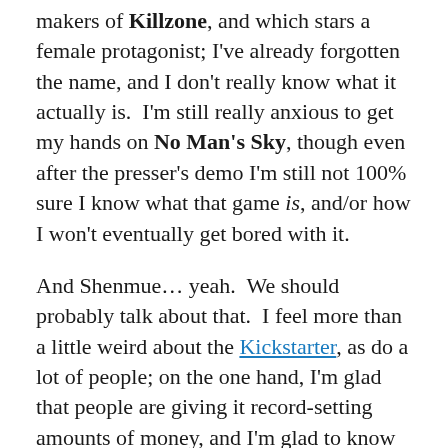makers of Killzone, and which stars a female protagonist; I've already forgotten the name, and I don't really know what it actually is. I'm still really anxious to get my hands on No Man's Sky, though even after the presser's demo I'm still not 100% sure I know what that game is, and/or how I won't eventually get bored with it.
And Shenmue… yeah. We should probably talk about that. I feel more than a little weird about the Kickstarter, as do a lot of people; on the one hand, I'm glad that people are giving it record-setting amounts of money, and I'm glad to know that I'll eventually be able to play it, but it seems more than a bit strange that